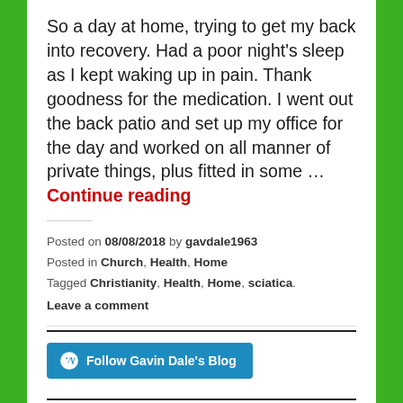So a day at home, trying to get my back into recovery. Had a poor night's sleep as I kept waking up in pain. Thank goodness for the medication. I went out the back patio and set up my office for the day and worked on all manner of private things, plus fitted in some … Continue reading
Posted on 08/08/2018 by gavdale1963
Posted in Church, Health, Home
Tagged Christianity, Health, Home, sciatica.
Leave a comment
[Figure (other): Follow Gavin Dale's Blog button with WordPress logo]
My Tweets